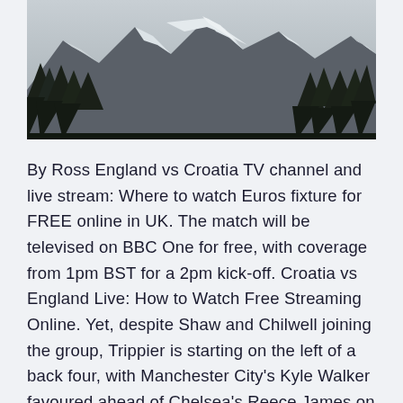[Figure (photo): Black and white photograph of snow-capped mountains with conifer trees in the foreground]
By Ross England vs Croatia TV channel and live stream: Where to watch Euros fixture for FREE online in UK. The match will be televised on BBC One for free, with coverage from 1pm BST for a 2pm kick-off. Croatia vs England Live: How to Watch Free Streaming Online. Yet, despite Shaw and Chilwell joining the group, Trippier is starting on the left of a back four, with Manchester City's Kyle Walker favoured ahead of Chelsea's Reece James on the right side and Aston Villa's Tyrone Mings partnering City's John Stones at the heart of the defence. England begin their Euro 2020 campaign on Sunday, as they take on Croatia at Wembley Stadi...